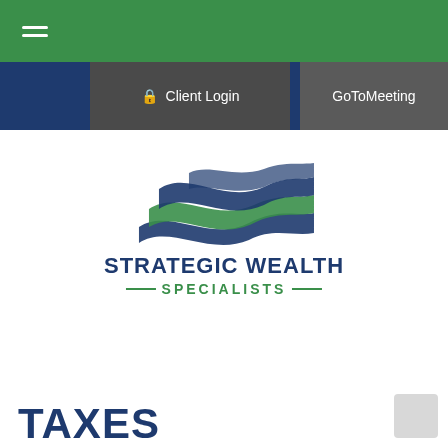[Figure (screenshot): Green top navigation bar with hamburger menu icon (three white horizontal lines)]
[Figure (screenshot): Navy blue navigation bar with dark gray Client Login button (lock icon) and GoToMeeting button]
[Figure (logo): Strategic Wealth Specialists logo: stylized wave/ribbon graphic in navy blue and green, with company name STRATEGIC WEALTH in navy bold uppercase and SPECIALISTS in green uppercase with decorative lines]
TAXES